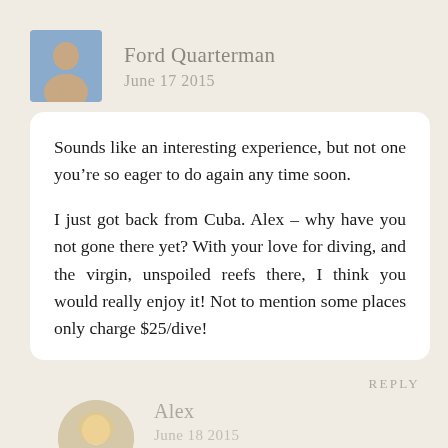[Figure (photo): Square avatar photo of Ford Quarterman, a man]
Ford Quarterman
June 17 2015
Sounds like an interesting experience, but not one you're so eager to do again any time soon.

I just got back from Cuba. Alex – why have you not gone there yet? With your love for diving, and the virgin, unspoiled reefs there, I think you would really enjoy it! Not to mention some places only charge $25/dive!
REPLY
[Figure (photo): Circular avatar photo of Alex, a blonde woman]
Alex
June 18 2015